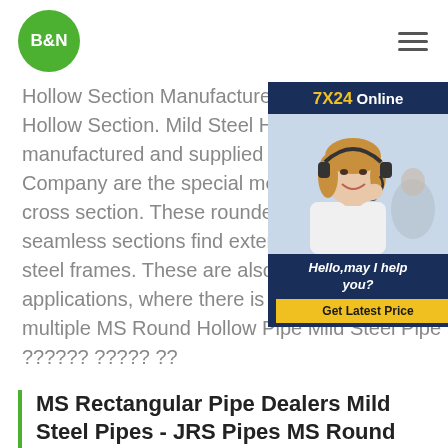B&N logo and navigation
Hollow Section Manufacturer,Supplier Hollow Section. Mild Steel Hollow Section manufactured and supplied by Noor Trading Company are the special metal profiles cross section. These rounded, rectangular seamless sections find extensive utility steel frames. These are also suited for applications, where there is a need of multiple MS Round Hollow Pipe Mild Steel Pipe ?????? ????? ??
[Figure (photo): 7X24 Online customer service widget with photo of a woman wearing a headset, Hello may I help you? text, and Get Latest Price button]
MS Rectangular Pipe Dealers Mild Steel Pipes - JRS Pipes MS Round Hollow Pipe Mild Steel Pipe ??????